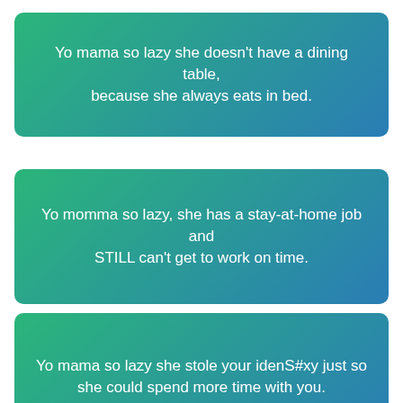Yo mama so lazy she doesn't have a dining table, because she always eats in bed.
Yo momma so lazy, she has a stay-at-home job and STILL can't get to work on time.
Yo mama so lazy she stole your idenS#xy just so she could spend more time with you.